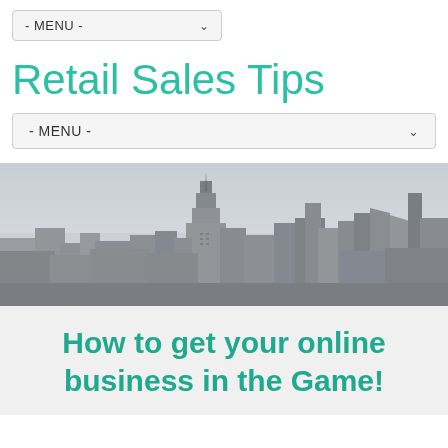- MENU -
Retail Sales Tips
- MENU -
[Figure (photo): Black and white panoramic photo of a city skyline with skyscrapers including the Empire State Building]
How to get your online business in the Game!